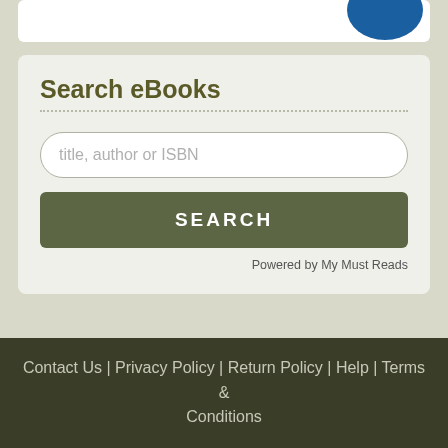[Figure (screenshot): Partial blue logo/graphic visible at top of page]
Search eBooks
[Figure (other): Search input field with placeholder text 'title, author or ISBN']
[Figure (other): SEARCH button in olive/dark green color]
Powered by My Must Reads
Contact Us | Privacy Policy | Return Policy | Help | Terms & Conditions